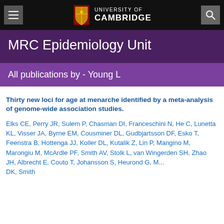University of Cambridge — MRC Epidemiology Unit
MRC Epidemiology Unit
All publications by - Young L
Thirty new loci for age at menarche identified by a meta-analysis of genome-wide association studies.
Elks CE, Perry JR, Sulem P, Chasman DI, Franceschini N, He C, Lunetta KL, Visser JA, Byrne EM, Cousminer DL, Gudbjartsson DF, Esko T, Feenstra B, Hottenga JJ, Koller DL, Kutalik Z, Lin P, Mangino M, Marongiu M, McArdle PF, Smith AV, Stolk L, van Wingerden SH, Zhao JH, Albrecht E, Couto T, Johansson S, Heurond G, Ma...  DK, Smith